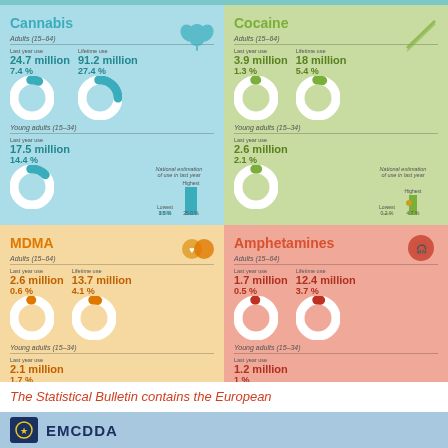[Figure (infographic): Cannabis drug use statistics infographic: Adults (15-64) Last year use 24.7 million (7.4%), Lifetime use 91.2 million (27.4%). Young adults (15-34) Last year use 17.5 million (14.4%). National estimation bar chart: Lowest 3.5%, Highest 25.0%.]
[Figure (infographic): Cocaine drug use statistics infographic: Adults (15-64) Last year use 3.9 million (1.3%), Lifetime use 18 million (5.4%). Young adults (15-34) Last year use 2.6 million (2.1%). National estimation: Lowest 0.2%, Highest 4.7%.]
[Figure (infographic): MDMA drug use statistics infographic: Adults (15-64) Last year use 2.6 million (0.6%), Lifetime use 13.7 million (4.1%). Young adults (15-34) Last year use 2.1 million (1.7%). National estimation: Lowest 0.2%, Highest 7.1%.]
[Figure (infographic): Amphetamines drug use statistics infographic: Adults (15-64) Last year use 1.7 million (0.5%), Lifetime use 12.4 million (3.7%). Young adults (15-34) Last year use 1.2 million (1%). National estimation: Lowest 0%, Highest 3.9%.]
The Statistical Bulletin contains the European data...
EMCDDA